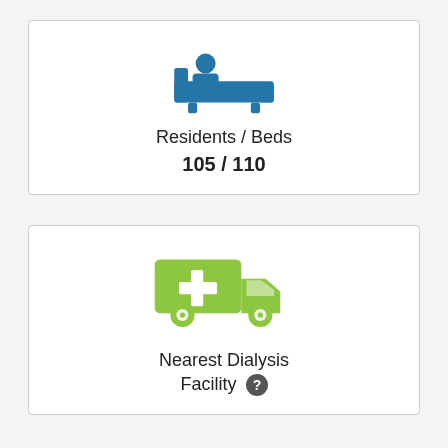[Figure (infographic): Blue icon of a person lying in a hospital bed]
Residents / Beds
105 / 110
[Figure (infographic): Green ambulance/medical transport vehicle icon with a white cross]
Nearest Dialysis Facility ?